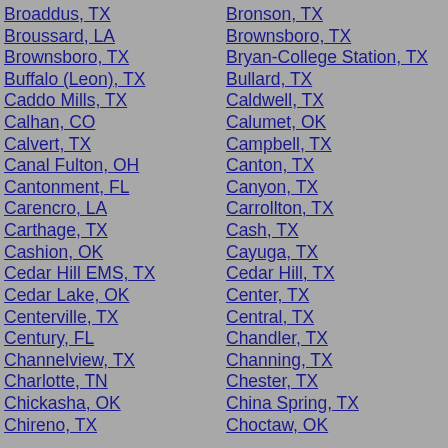Broaddus, TX
Broussard, LA
Brownsboro, TX
Buffalo (Leon), TX
Caddo Mills, TX
Calhan, CO
Calvert, TX
Canal Fulton, OH
Cantonment, FL
Carencro, LA
Carthage, TX
Cashion, OK
Cedar Hill EMS, TX
Cedar Lake, OK
Centerville, TX
Century, FL
Channelview, TX
Charlotte, TN
Chickasha, OK
Chireno, TX
Bronson, TX
Brownsboro, TX
Bryan-College Station, TX
Bullard, TX
Caldwell, TX
Calumet, OK
Campbell, TX
Canton, TX
Canyon, TX
Carrollton, TX
Cash, TX
Cayuga, TX
Cedar Hill, TX
Center, TX
Central, TX
Chandler, TX
Channing, TX
Chester, TX
China Spring, TX
Choctaw, OK